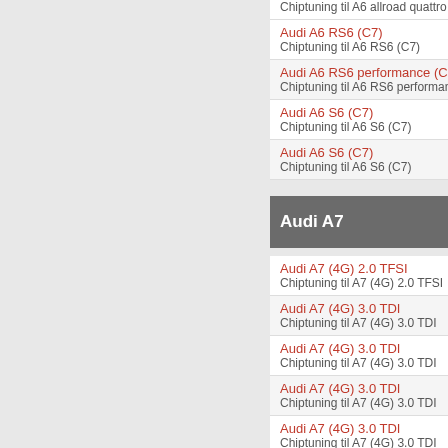Audi A6 RS6 (C7)
Chiptuning til A6 RS6 (C7)
Audi A6 RS6 performance (C7)
Chiptuning til A6 RS6 performance (C7)
Audi A6 S6 (C7)
Chiptuning til A6 S6 (C7)
Audi A6 S6 (C7)
Chiptuning til A6 S6 (C7)
Audi A7
Audi A7 (4G) 2.0 TFSI
Chiptuning til A7 (4G) 2.0 TFSI
Audi A7 (4G) 3.0 TDI
Chiptuning til A7 (4G) 3.0 TDI
Audi A7 (4G) 3.0 TDI
Chiptuning til A7 (4G) 3.0 TDI
Audi A7 (4G) 3.0 TDI
Chiptuning til A7 (4G) 3.0 TDI
Audi A7 (4G) 3.0 TDI
Chiptuning til A7 (4G) 3.0 TDI
Audi A7 (4G) 3.0 TDI
Chiptuning til A7 (4G) 3.0 TDI
Audi A7 (4G) 3.0 TDI clean diesel qu...
Chiptuning til A7 (4G) 3.0 TDI clean d...
Audi A7 (4G) 3.0 TDI clean diesel qu...
Chiptuning til A7 (4G) 3.0 TDI clean...